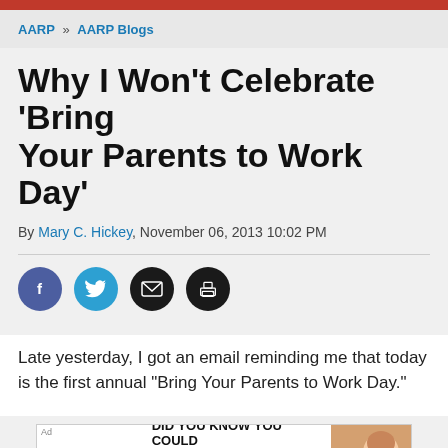AARP » AARP Blogs
Why I Won't Celebrate 'Bring Your Parents to Work Day'
By Mary C. Hickey, November 06, 2013 10:02 PM
[Figure (infographic): Social sharing icons: Facebook (blue circle with f), Twitter (cyan circle with bird), Email (black circle with envelope), Print (black circle with printer)]
Late yesterday, I got an email reminding me that today is the first annual "Bring Your Parents to Work Day."
[Figure (infographic): AARP advertisement banner: DID YOU KNOW YOU COULD SAVE ON AUTO INSURANCE? Just take the Smart Driver Online Course! with AARP logo and photo of a woman in a car]